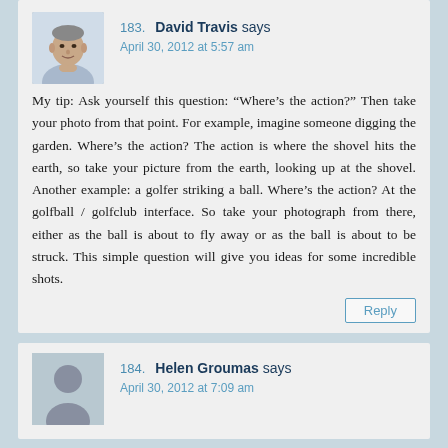[Figure (photo): Avatar photo of David Travis, a middle-aged man with short hair, hands clasped near chin, wearing a light blue shirt]
183. David Travis says
April 30, 2012 at 5:57 am
My tip: Ask yourself this question: “Where’s the action?” Then take your photo from that point. For example, imagine someone digging the garden. Where’s the action? The action is where the shovel hits the earth, so take your picture from the earth, looking up at the shovel. Another example: a golfer striking a ball. Where’s the action? At the golfball / golfclub interface. So take your photograph from there, either as the ball is about to fly away or as the ball is about to be struck. This simple question will give you ideas for some incredible shots.
Reply
[Figure (illustration): Generic grey avatar silhouette placeholder for Helen Groumas]
184. Helen Groumas says
April 30, 2012 at 7:09 am